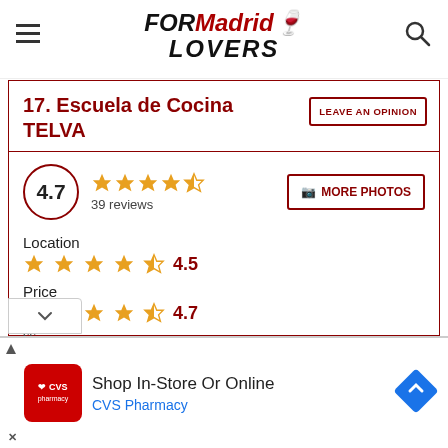FORMadrid LOVERS
17. Escuela de Cocina TELVA
LEAVE AN OPINION
4.7 — 39 reviews
MORE PHOTOS
Location
4.5
Price
4.7
ss
[Figure (screenshot): CVS Pharmacy advertisement: Shop In-Store Or Online]